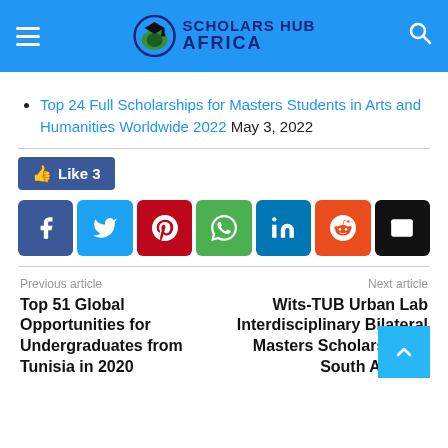Scholars Hub Africa
Top 24 Full Scholarships for Masters Students in Arts and Humanities Worldwide 2022 May 3, 2022
[Figure (infographic): Social share buttons: Like 3 (Facebook like), Facebook, Twitter, Pinterest, WhatsApp, LinkedIn, Reddit, Email]
Previous article: Top 51 Global Opportunities for Undergraduates from Tunisia in 2020
Next article: Wits-TUB Urban Lab Interdisciplinary Bilateral Masters Scholarship in South Africa 2